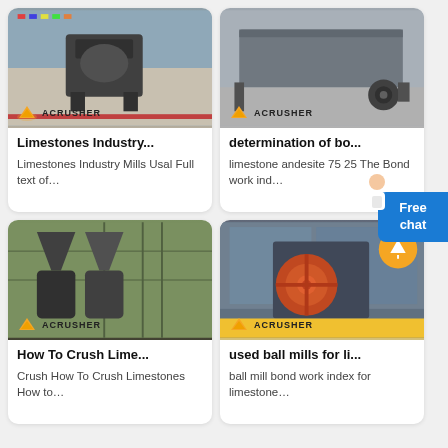[Figure (photo): Industrial crusher machine in a factory with international flags in background, Acrusher watermark logo]
Limestones Industry...
Limestones Industry Mills Usal Full text of…
[Figure (photo): Vibrating screen / feeder machine, large metal industrial equipment, Acrusher watermark logo]
determination of bo...
limestone andesite 75 25 The Bond work ind…
[Figure (photo): Cone crushers and industrial hoppers on a construction site, Acrusher watermark logo]
How To Crush Lime...
Crush How To Crush Limestones How to…
[Figure (photo): Jaw crusher machine with orange flywheel in a modern building, Acrusher watermark logo, scroll-to-top orange button]
used ball mills for li...
ball mill bond work index for limestone…